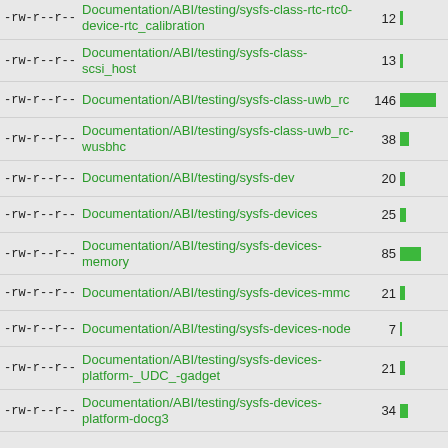-rw-r--r-- Documentation/ABI/testing/sysfs-class-rtc-rtc0-device-rtc_calibration 12
-rw-r--r-- Documentation/ABI/testing/sysfs-class-scsi_host 13
-rw-r--r-- Documentation/ABI/testing/sysfs-class-uwb_rc 146
-rw-r--r-- Documentation/ABI/testing/sysfs-class-uwb_rc-wusbhc 38
-rw-r--r-- Documentation/ABI/testing/sysfs-dev 20
-rw-r--r-- Documentation/ABI/testing/sysfs-devices 25
-rw-r--r-- Documentation/ABI/testing/sysfs-devices-memory 85
-rw-r--r-- Documentation/ABI/testing/sysfs-devices-mmc 21
-rw-r--r-- Documentation/ABI/testing/sysfs-devices-node 7
-rw-r--r-- Documentation/ABI/testing/sysfs-devices-platform-_UDC_-gadget 21
-rw-r--r-- Documentation/ABI/testing/sysfs-devices-platform-docg3 34